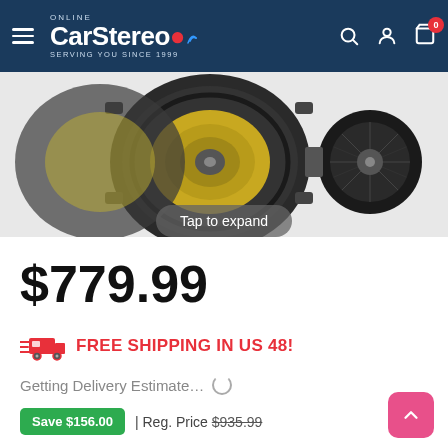Online Car Stereo — SERVING YOU SINCE 1999
[Figure (photo): Car audio speaker components including a woofer with yellow cone and a tweeter, shown against white background]
Tap to expand
$779.99
FREE SHIPPING IN US 48!
Getting Delivery Estimate…
Save $156.00 | Reg. Price $935.99